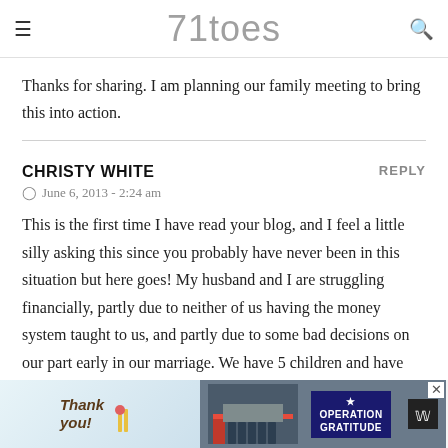71toes
Thanks for sharing. I am planning our family meeting to bring this into action.
CHRISTY WHITE
June 6, 2013 - 2:24 am
This is the first time I have read your blog, and I feel a little silly asking this since you probably have never been in this situation but here goes! My husband and I are struggling financially, partly due to neither of us having the money system taught to us, and partly due to some bad decisions on our part early in our marriage. We have 5 children and have went
[Figure (photo): Advertisement banner at bottom of page showing 'Thank you!' text with image of firefighters and Operation Gratitude logo]